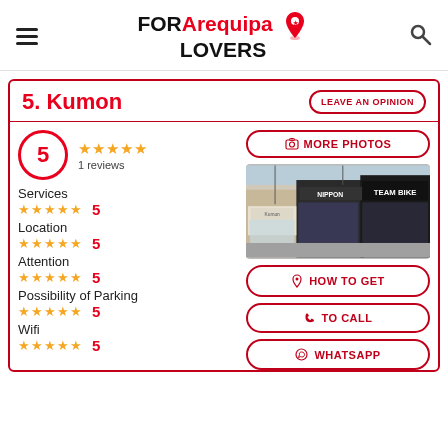FOR Arequipa LOVERS
5. Kumon
LEAVE AN OPINION
5 — 1 reviews
MORE PHOTOS
Services ★★★★★ 5
Location ★★★★★ 5
Attention ★★★★★ 5
Possibility of Parking ★★★★★ 5
Wifi ★★★★★ 5
[Figure (photo): Street-level photo of storefronts including Kumon, NIPPON, and Team Bike shops]
HOW TO GET
TO CALL
WHATSAPP